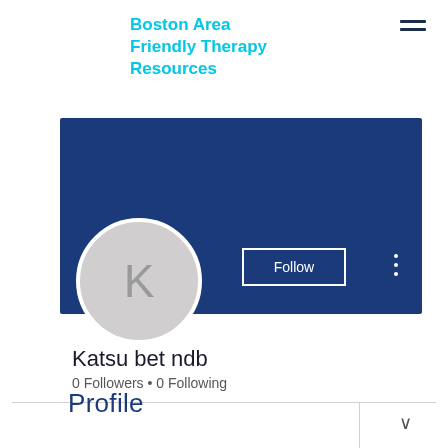Boston Area Friendly Therapy Resources
[Figure (screenshot): Website profile page screenshot showing a user profile named 'Katsu bet ndb' with 0 Followers and 0 Following, a blue banner header, a circular avatar with letter K, a Follow button, and a Profile section below.]
Katsu bet ndb
0 Followers • 0 Following
Profile